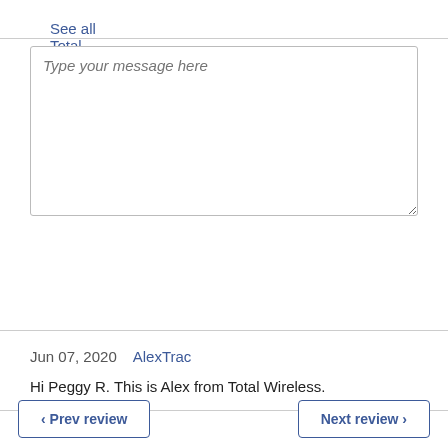← See all Total Wireless reviews
[Figure (screenshot): Text input area with placeholder 'Type your message here']
Post Comment
Jun 07, 2020  AlexTrac
Hi Peggy R. This is Alex from Total Wireless.
‹ Prev review
Next review ›